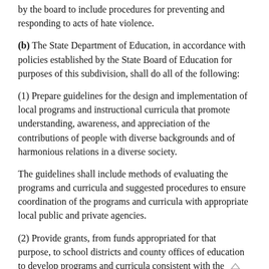by the board to include procedures for preventing and responding to acts of hate violence.
(b) The State Department of Education, in accordance with policies established by the State Board of Education for purposes of this subdivision, shall do all of the following:
(1) Prepare guidelines for the design and implementation of local programs and instructional curricula that promote understanding, awareness, and appreciation of the contributions of people with diverse backgrounds and of harmonious relations in a diverse society.
The guidelines shall include methods of evaluating the programs and curricula and suggested procedures to ensure coordination of the programs and curricula with appropriate local public and private agencies.
(2) Provide grants, from funds appropriated for that purpose, to school districts and county offices of education to develop programs and curricula consistent with the guidelines developed in paragraph (1).